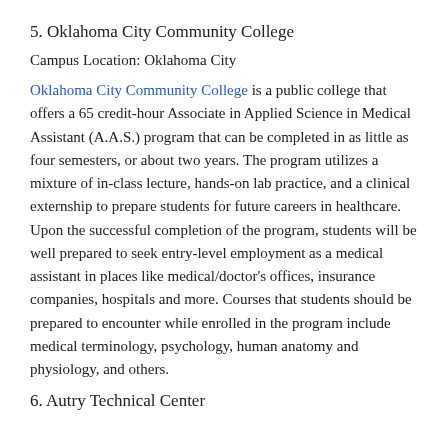5. Oklahoma City Community College
Campus Location: Oklahoma City
Oklahoma City Community College is a public college that offers a 65 credit-hour Associate in Applied Science in Medical Assistant (A.A.S.) program that can be completed in as little as four semesters, or about two years. The program utilizes a mixture of in-class lecture, hands-on lab practice, and a clinical externship to prepare students for future careers in healthcare. Upon the successful completion of the program, students will be well prepared to seek entry-level employment as a medical assistant in places like medical/doctor's offices, insurance companies, hospitals and more. Courses that students should be prepared to encounter while enrolled in the program include medical terminology, psychology, human anatomy and physiology, and others.
6. Autry Technical Center